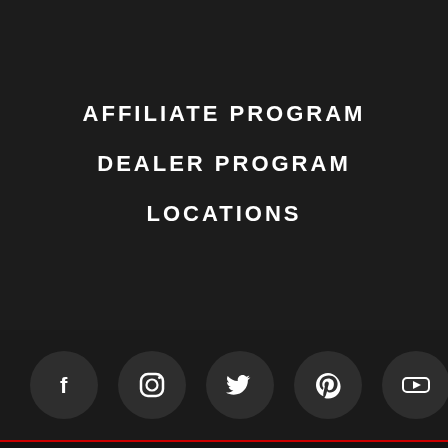AFFILIATE PROGRAM
DEALER PROGRAM
LOCATIONS
[Figure (illustration): Row of social media icon circles: Facebook, Instagram, Twitter, Pinterest, YouTube]
[Figure (illustration): Payment method logos row: VISA, Apple Pay, American Express, Discover, MasterCard, PayPal, Amazon Pay]